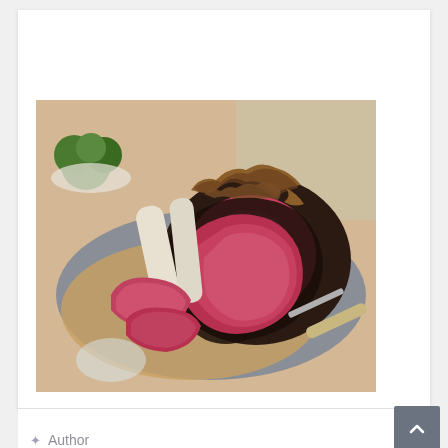[Figure (photo): A prime rib roast being carved on a wooden cutting board with a slate plate. The roast has a dark crust topped with crispy fried onions, revealing pink medium-rare meat inside. Slices of the roast are laid out beside the main roast. In the background are broccoli florets in a bowl and tableware.]
Author